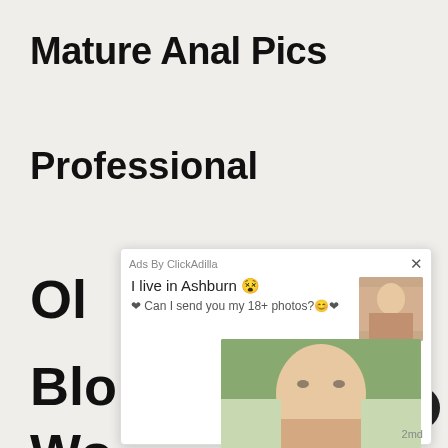Mature Anal Pics
Professional
Ol
Blo
Wo
[Figure (other): Advertisement overlay from ClickAdilla with text 'I live in Ashburn' and 'Can I send you my 18+ photos?' with a photo of a blonde woman in a bikini and thumbnail image, timestamp '2md']